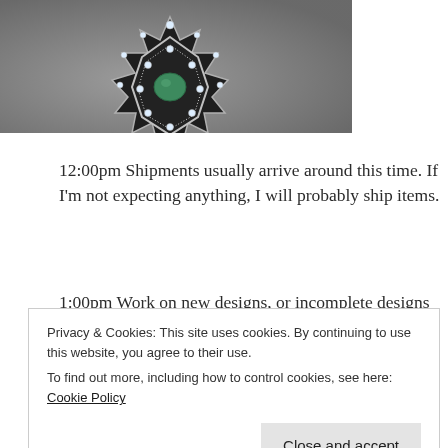[Figure (photo): Close-up photo of an ornate octagonal jewelry piece (brooch or pendant) with a green center gemstone surrounded by diamonds in a silver/white gold setting, viewed from above against a gray background.]
12:00pm Shipments usually arrive around this time. If I'm not expecting anything, I will probably ship items.
1:00pm Work on new designs, or incomplete designs that need to be revised and finished.
4:45pm Stop working on designs, start thinking about family time and dinner.
Privacy & Cookies: This site uses cookies. By continuing to use this website, you agree to their use.
To find out more, including how to control cookies, see here: Cookie Policy
[Close and accept]